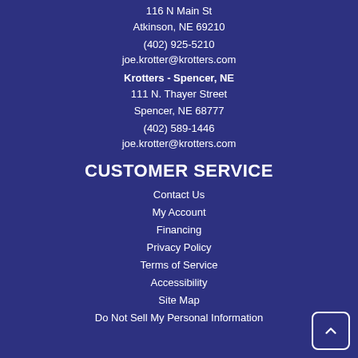116 N Main St
Atkinson, NE 69210
(402) 925-5210
joe.krotter@krotters.com
Krotters - Spencer, NE
111 N. Thayer Street
Spencer, NE 68777
(402) 589-1446
joe.krotter@krotters.com
CUSTOMER SERVICE
Contact Us
My Account
Financing
Privacy Policy
Terms of Service
Accessibility
Site Map
Do Not Sell My Personal Information